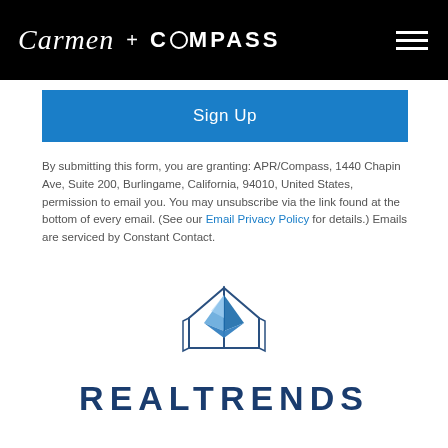Carmen + COMPASS
Sign Up
By submitting this form, you are granting: APR/Compass, 1440 Chapin Ave, Suite 200, Burlingame, California, 94010, United States, permission to email you. You may unsubscribe via the link found at the bottom of every email. (See our Email Privacy Policy for details.) Emails are serviced by Constant Contact.
[Figure (logo): RealTrends house/diamond logo icon in blue tones]
REALTRENDS